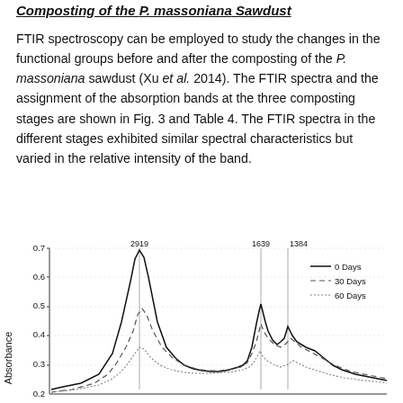Composting of the P. massoniana Sawdust
FTIR spectroscopy can be employed to study the changes in the functional groups before and after the composting of the P. massoniana sawdust (Xu et al. 2014). The FTIR spectra and the assignment of the absorption bands at the three composting stages are shown in Fig. 3 and Table 4. The FTIR spectra in the different stages exhibited similar spectral characteristics but varied in the relative intensity of the band.
[Figure (continuous-plot): FTIR absorbance spectra at three composting stages (0 Days solid line, 30 Days dashed line, 60 Days dotted line). X-axis is wavenumber, Y-axis is Absorbance (0.2 to 0.7). Peaks labeled at 2919, 1639, and 1384 cm-1.]